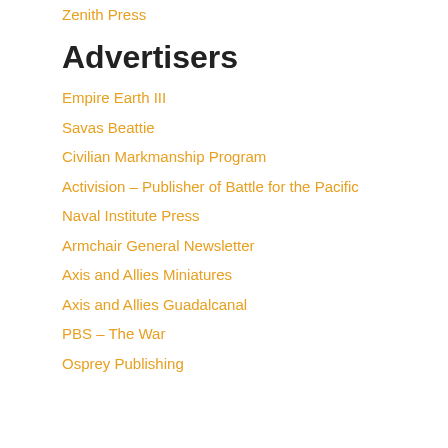Zenith Press
Advertisers
Empire Earth III
Savas Beattie
Civilian Markmanship Program
Activision – Publisher of Battle for the Pacific
Naval Institute Press
Armchair General Newsletter
Axis and Allies Miniatures
Axis and Allies Guadalcanal
PBS – The War
Osprey Publishing